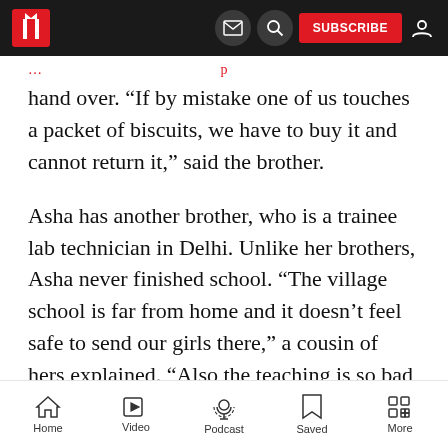Navigation bar with logo, mail icon, search icon, SUBSCRIBE button, and user icon
hand over. “If by mistake one of us touches a packet of biscuits, we have to buy it and cannot return it,” said the brother.
Asha has another brother, who is a trainee lab technician in Delhi. Unlike her brothers, Asha never finished school. “The village school is far from home and it doesn’t feel safe to send our girls there,” a cousin of hers explained. “Also the teaching is so bad and we Balmikis are expected to do all the cleaning in the school as
Home  Video  Podcast  Saved  More